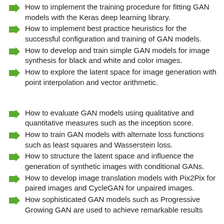How to implement the training procedure for fitting GAN models with the Keras deep learning library.
How to implement best practice heuristics for the successful configuration and training of GAN models.
How to develop and train simple GAN models for image synthesis for black and white and color images.
How to explore the latent space for image generation with point interpolation and vector arithmetic.
How to evaluate GAN models using qualitative and quantitative measures such as the inception score.
How to train GAN models with alternate loss functions such as least squares and Wasserstein loss.
How to structure the latent space and influence the generation of synthetic images with conditional GANs.
How to develop image translation models with Pix2Pix for paired images and CycleGAN for unpaired images.
How sophisticated GAN models such as Progressive Growing GAN are used to achieve remarkable results